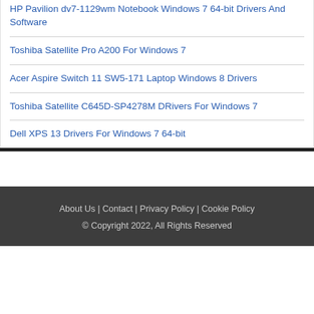HP Pavilion dv7-1129wm Notebook Windows 7 64-bit Drivers And Software
Toshiba Satellite Pro A200 For Windows 7
Acer Aspire Switch 11 SW5-171 Laptop Windows 8 Drivers
Toshiba Satellite C645D-SP4278M DRivers For Windows 7
Dell XPS 13 Drivers For Windows 7 64-bit
About Us | Contact | Privacy Policy | Cookie Policy © Copyright 2022, All Rights Reserved